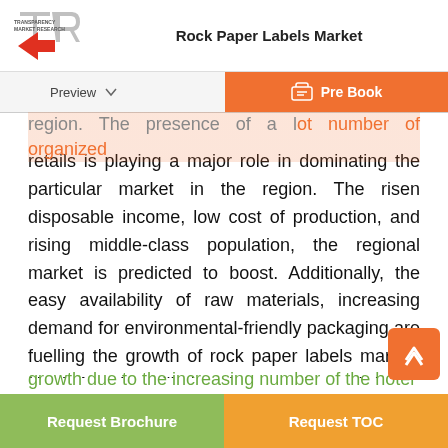Rock Paper Labels Market
region. The presence of a lot number of organized retails is playing a major role in dominating the particular market in the region. The risen disposable income, low cost of production, and rising middle-class population, the regional market is predicted to boost. Additionally, the easy availability of raw materials, increasing demand for environmental-friendly packaging are fuelling the growth of rock paper labels market. North America will also show good growth in the market due to the government supports the usage of plastic-free material. Europe will show significant growth in the market due to risen demand for packaging application in different countries like Russia, France, UK and Italy in food sectors. Middle East & Africa is also set to show good growth due to the increasing number of the hotel